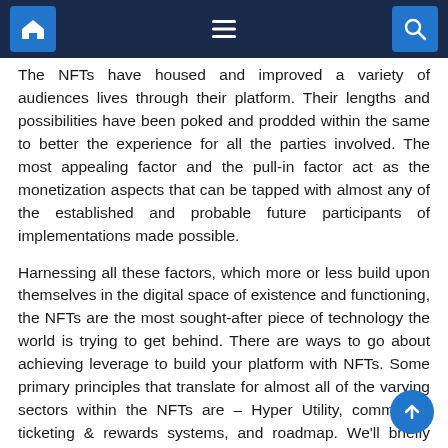Navigation bar with home, menu, and search icons
The NFTs have housed and improved a variety of audiences lives through their platform. Their lengths and possibilities have been poked and prodded within the same to better the experience for all the parties involved. The most appealing factor and the pull-in factor act as the monetization aspects that can be tapped with almost any of the established and probable future participants of implementations made possible.
Harnessing all these factors, which more or less build upon themselves in the digital space of existence and functioning, the NFTs are the most sought-after piece of technology the world is trying to get behind. There are ways to go about achieving leverage to build your platform with NFTs. Some primary principles that translate for almost all of the varying sectors within the NFTs are – Hyper Utility, community, ticketing & rewards systems, and roadmap. We'll briefly peek